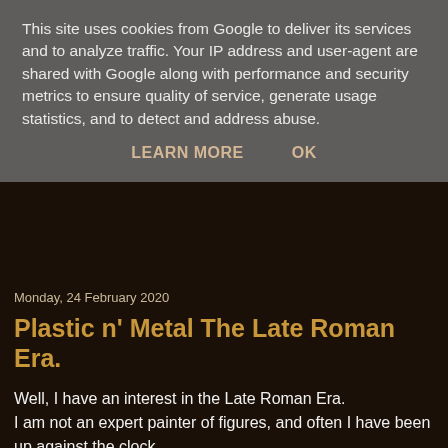This site uses cookies from Google to deliver its services and to analyze traffic. Your IP address and user-agent are shared with Google along with performance and security metrics to ensure quality of service, generate usage statistics, and to detect and address abuse.
LEARN MORE   OK
Monday, 24 February 2020
Plastic n' Metal The Late Roman Era.
Well, I have an interest in the Late Roman Era.
I am not an expert painter of figures, and often I have been up against the clock.
Therefore my style is very basic. I use 20mm plastic, mainly Hat and some Miliart. I also mix in some metal Newline Designs as being 20mm these seem to fit  with the plastic figures.
I think a company called Tumbling Dice also make 20mm metal figures for this era.